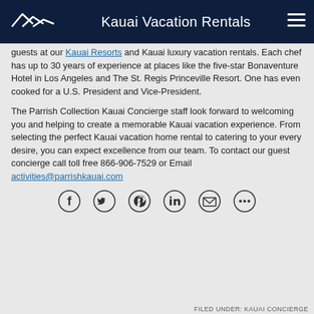Kauai Vacation Rentals
guests at our Kauai Resorts and Kauai luxury vacation rentals. Each chef has up to 30 years of experience at places like the five-star Bonaventure Hotel in Los Angeles and The St. Regis Princeville Resort. One has even cooked for a U.S. President and Vice-President.
The Parrish Collection Kauai Concierge staff look forward to welcoming you and helping to create a memorable Kauai vacation experience. From selecting the perfect Kauai vacation home rental to catering to your every desire, you can expect excellence from our team. To contact our guest concierge call toll free 866-906-7529 or Email activities@parrishkauai.com
[Figure (infographic): Social share icons: Facebook, Twitter, Pinterest, LinkedIn, Email, More]
FILED UNDER: KAUAI CONCIERGE